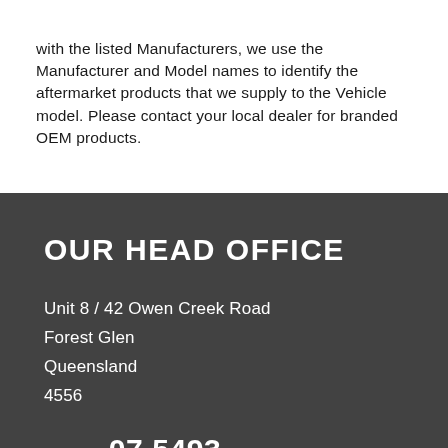with the listed Manufacturers, we use the Manufacturer and Model names to identify the aftermarket products that we supply to the Vehicle model. Please contact your local dealer for branded OEM products.
OUR HEAD OFFICE
Unit 8 / 42 Owen Creek Road
Forest Glen
Queensland
4556
Phone : 07 5493 1400